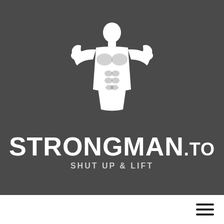[Figure (logo): Strongman.to logo featuring a white muscular bodybuilder figure flexing both arms upward, shown from the back/front torso view, above the brand name text on a dark gray background]
STRONGMAN.to
SHUT UP & LIFT
[Figure (other): White navigation bar at the bottom with a hamburger menu icon (three horizontal lines) on the right side]